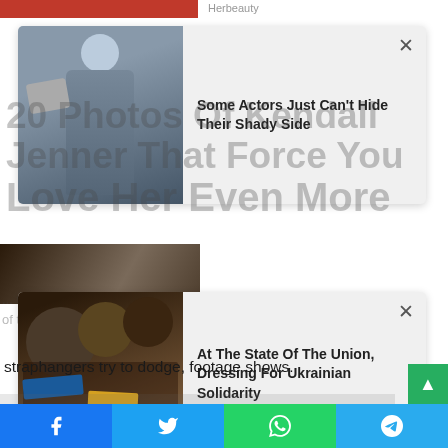[Figure (screenshot): Top partial image strip with red background, Herbeauty label]
[Figure (screenshot): Popup ad card 1: thumbnail of man with megaphone, title 'Some Actors Just Can't Hide Their Shady Side' with X close button]
[Figure (screenshot): Background partially obscured article headline: '20 Photos Of Kendall Jenner That Force You Love Her Even More']
[Figure (screenshot): Popup ad card 2: thumbnail of group of people, title 'At The State Of The Union, Dressing For Ukrainian Solidarity' with X close button]
straphangers try to dodge, footage shows.
After a few seconds, the suspect attacked the victim, causing both of them to fall onto the southbound tracks, police said.
There, Melendez slashed the victim in the chest, ear, fingers and head, police officers said.
[Figure (screenshot): Social sharing bar at bottom with Facebook, Twitter, WhatsApp, and Telegram icons]